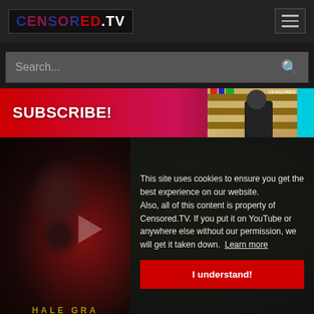[Figure (screenshot): CENSORED.TV website header with logo on left and hamburger menu icon on right]
Search...
[Figure (screenshot): SUBSCRIBE! banner with red-to-pink gradient and video thumbnail on the right showing a man in front of a bookcase with a cyan strip]
[Figure (screenshot): Dark content area with yellow-green background, zombie/skull imagery on left, cookie consent dialog on right reading: This site uses cookies to ensure you get the best experience on our website. Also, all of this content is property of Censored.TV. If you put it on YouTube or anywhere else without our permission, we will get it taken down. Learn more]
This site uses cookies to ensure you get the best experience on our website. Also, all of this content is property of Censored.TV. If you put it on YouTube or anywhere else without our permission, we will get it taken down. Learn more
I understand!